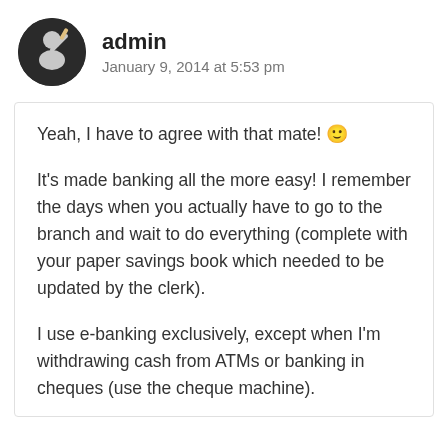admin — January 9, 2014 at 5:53 pm
Yeah, I have to agree with that mate! 🙂
It's made banking all the more easy! I remember the days when you actually have to go to the branch and wait to do everything (complete with your paper savings book which needed to be updated by the clerk).
I use e-banking exclusively, except when I'm withdrawing cash from ATMs or banking in cheques (use the cheque machine).